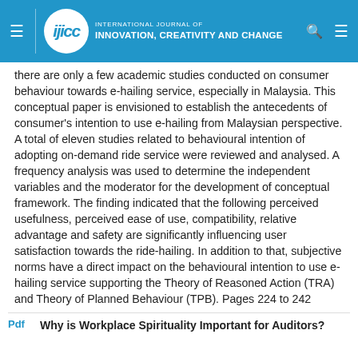INTERNATIONAL JOURNAL OF INNOVATION, CREATIVITY AND CHANGE
there are only a few academic studies conducted on consumer behaviour towards e-hailing service, especially in Malaysia. This conceptual paper is envisioned to establish the antecedents of consumer's intention to use e-hailing from Malaysian perspective. A total of eleven studies related to behavioural intention of adopting on-demand ride service were reviewed and analysed. A frequency analysis was used to determine the independent variables and the moderator for the development of conceptual framework. The finding indicated that the following perceived usefulness, perceived ease of use, compatibility, relative advantage and safety are significantly influencing user satisfaction towards the ride-hailing. In addition to that, subjective norms have a direct impact on the behavioural intention to use e-hailing service supporting the Theory of Reasoned Action (TRA) and Theory of Planned Behaviour (TPB). Pages 224 to 242
Why is Workplace Spirituality Important for Auditors?